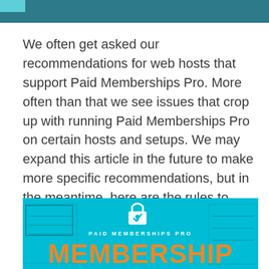We often get asked our recommendations for web hosts that support Paid Memberships Pro. More often than that we see issues that crop up with running Paid Memberships Pro on certain hosts and setups. We may expand this article in the future to make more specific recommendations, but in the meantime, here are the rules to follow.
[Figure (illustration): Paid Memberships Pro promotional banner with teal background, lock icon, text 'PAID MEMBERSHIPS PRO' in white, and large orange text 'MEMBERSHIP' at the bottom]